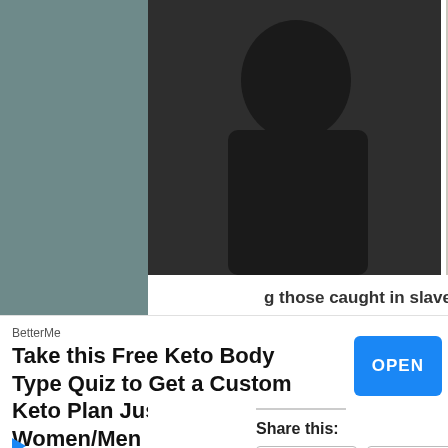[Figure (screenshot): YouTube video thumbnail showing a person on left in dark clothing against white brick wall, and a room with a microphone on right. YouTube play button overlay in center-top area.]
g those caught in slave trafficking, and o meet needs. If you have not registere nd beyond, Go to www.makejesuscult
[Figure (screenshot): Black redacted/censored rectangle below text]
BetterMe
Take this Free Keto Body Type Quiz to Get a Custom Keto Plan Just for Women/Men
Share this:
Email
Facebook
Twitter